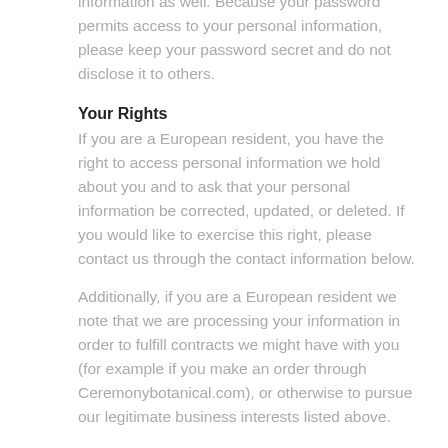information as well. Because your password permits access to your personal information, please keep your password secret and do not disclose it to others.
Your Rights
If you are a European resident, you have the right to access personal information we hold about you and to ask that your personal information be corrected, updated, or deleted. If you would like to exercise this right, please contact us through the contact information below.
Additionally, if you are a European resident we note that we are processing your information in order to fulfill contracts we might have with you (for example if you make an order through Ceremonybotanical.com), or otherwise to pursue our legitimate business interests listed above.